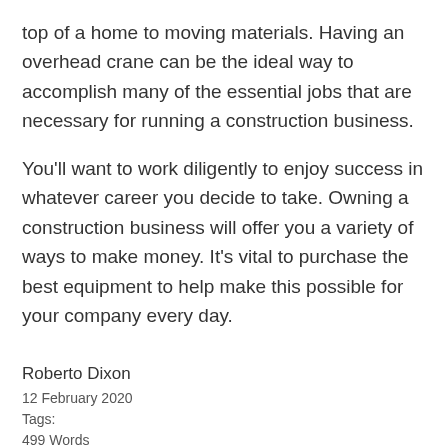top of a home to moving materials. Having an overhead crane can be the ideal way to accomplish many of the essential jobs that are necessary for running a construction business.
You'll want to work diligently to enjoy success in whatever career you decide to take. Owning a construction business will offer you a variety of ways to make money. It's vital to purchase the best equipment to help make this possible for your company every day.
Roberto Dixon
12 February 2020
Tags:
499 Words